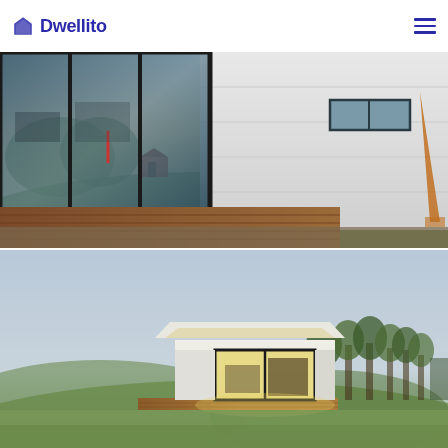Dwellito
[Figure (photo): Exterior close-up of a modern modular/prefab tiny home at dusk. A large black-framed sliding glass door with a wooden deck is visible on the left side, and the white panel siding extends to the right with a small rectangular window. Rolling green hills and a red barn are visible in the background.]
[Figure (photo): Full exterior view of a small modern prefab/tiny home at dusk on an open grassy hilltop. The white box-shaped structure has a flat overhanging roof, large sliding glass door illuminated from within showing interior furniture, and a wooden deck platform. Trees line the background on the right side.]